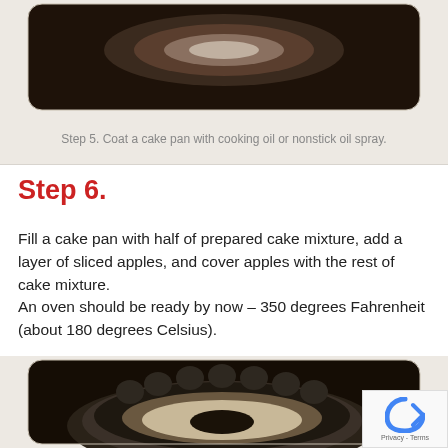[Figure (photo): Top-down view of a bowl or cake pan on a dark wooden surface, partially cropped at top]
Step 5. Coat a cake pan with cooking oil or nonstick oil spray.
Step 6.
Fill a cake pan with half of prepared cake mixture, add a layer of sliced apples, and cover apples with the rest of cake mixture.
An oven should be ready by now – 350 degrees Fahrenheit (about 180 degrees Celsius).
[Figure (photo): Top-down view of a bundt cake pan filled with batter on a dark wooden surface]